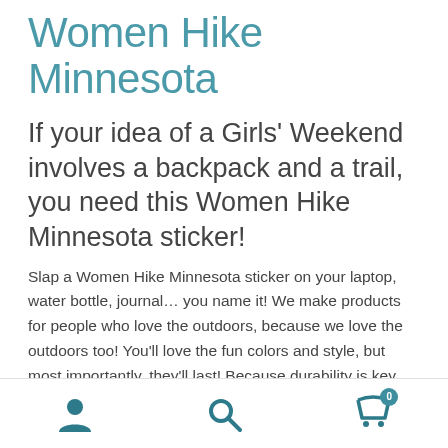Women Hike Minnesota
If your idea of a Girls' Weekend involves a backpack and a trail, you need this Women Hike Minnesota sticker!
Slap a Women Hike Minnesota sticker on your laptop, water bottle, journal… you name it! We make products for people who love the outdoors, because we love the outdoors too! You'll love the fun colors and style, but most importantly, they'll last! Because durability is key, we field-tested these stickers on our water bottles, and they
User icon | Search icon | Cart icon (0)